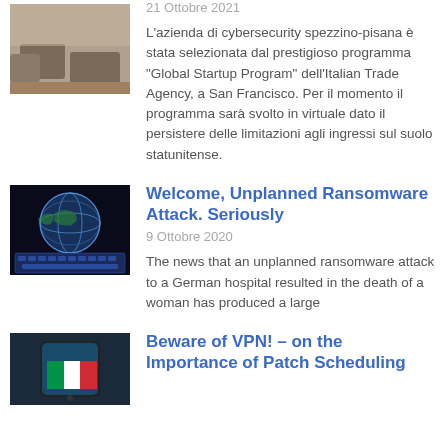[Figure (photo): Thumbnail image of a living room with sofas]
21 Ottobre 2021
L’azienda di cybersecurity spezzino-pisana è stata selezionata dal prestigioso programma “Global Startup Program” dell’Italian Trade Agency, a San Francisco. Per il momento il programma sarà svolto in virtuale dato il persistere delle limitazioni agli ingressi sul suolo statunitense.
[Figure (photo): Thumbnail image of a globe and keyboard representing cybersecurity]
Welcome, Unplanned Ransomware Attack. Seriously
9 Ottobre 2020
The news that an unplanned ransomware attack to a German hospital resulted in the death of a woman has produced a large
[Figure (photo): Thumbnail image showing a phone with Italian flag]
Beware of VPN! – on the Importance of Patch Scheduling